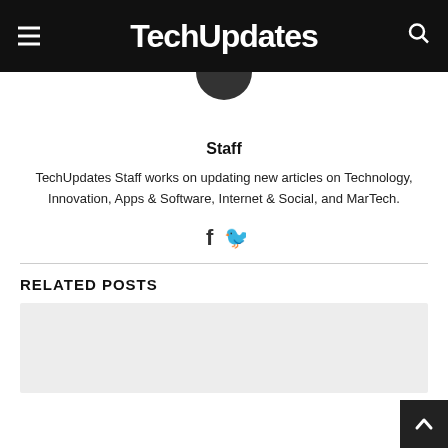TechUpdates
Staff
TechUpdates Staff works on updating new articles on Technology, Innovation, Apps & Software, Internet & Social, and MarTech.
[Figure (illustration): Facebook and Twitter social media icons]
RELATED POSTS
[Figure (photo): Related post thumbnail placeholder (light gray box)]